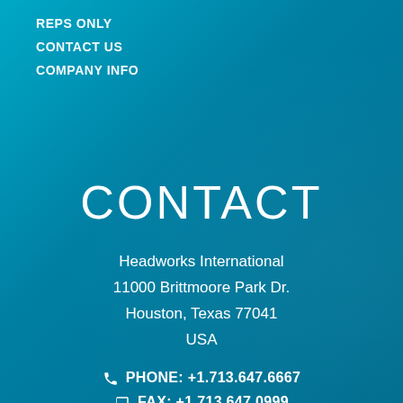REPS ONLY
CONTACT US
COMPANY INFO
CONTACT
Headworks International
11000 Brittmoore Park Dr.
Houston, Texas 77041
USA
PHONE: +1.713.647.6667
FAX: +1.713.647.0999
EMAIL US